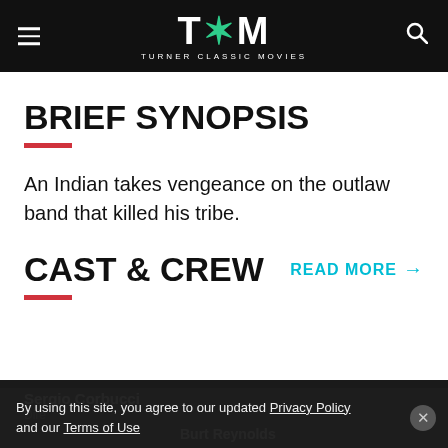TCM - TURNER CLASSIC MOVIES
BRIEF SYNOPSIS
An Indian takes vengeance on the outlaw band that killed his tribe.
CAST & CREW
READ MORE →
Sergio Corbucci
Director
Burt Reynolds
By using this site, you agree to our updated Privacy Policy and our Terms of Use